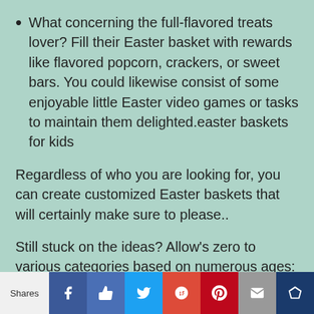What concerning the full-flavored treats lover? Fill their Easter basket with rewards like flavored popcorn, crackers, or sweet bars. You could likewise consist of some enjoyable little Easter video games or tasks to maintain them delighted.easter baskets for kids
Regardless of who you are looking for, you can create customized Easter baskets that will certainly make sure to please..
Still stuck on the ideas? Allow's zero to various categories based on numerous ages:
[Figure (infographic): Social sharing bar with Shares label, Facebook, Facebook Like, Twitter, Google+, Pinterest, Email, and Crown/bookmark icons]